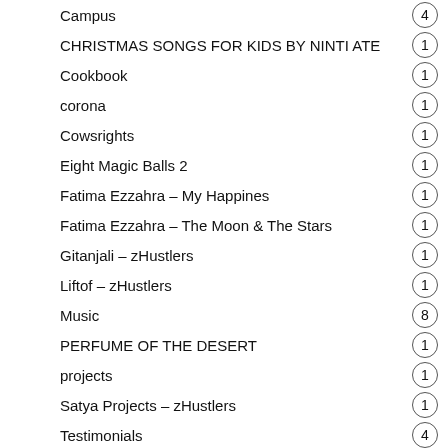Campus — 4
CHRISTMAS SONGS FOR KIDS BY NINTI ATE — 1
Cookbook — 1
corona — 1
Cowsrights — 1
Eight Magic Balls 2 — 1
Fatima Ezzahra - My Happines — 1
Fatima Ezzahra - The Moon & The Stars — 1
Gitanjali - zHustlers — 1
Liftof - zHustlers — 1
Music — 8
PERFUME OF THE DESERT — 1
projects — 1
Satya Projects - zHustlers — 1
Testimonials — 4
The Best Milky & Juicy Female Reggae Collection — 1